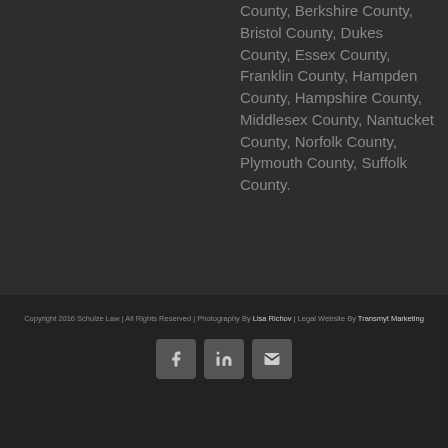County, Berkshire County, Bristol County, Dukes County, Essex County, Franklin County, Hampden County, Hampshire County, Middlesex County, Nantucket County, Norfolk County, Plymouth County, Suffolk County.
Copyright 2016 Schulze Law | All Rights Reserved | Photography By Lisa Richov | Legal Website By Transmyt Marketing